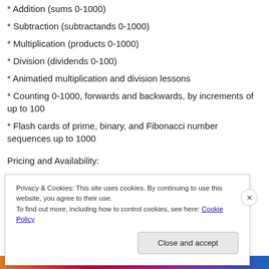* Addition (sums 0-1000)
* Subtraction (subtractands 0-1000)
* Multiplication (products 0-1000)
* Division (dividends 0-100)
* Animatied multiplication and division lessons
* Counting 0-1000, forwards and backwards, by increments of up to 100
* Flash cards of prime, binary, and Fibonacci number sequences up to 1000
Pricing and Availability:
Privacy & Cookies: This site uses cookies. By continuing to use this website, you agree to their use.
To find out more, including how to control cookies, see here: Cookie Policy